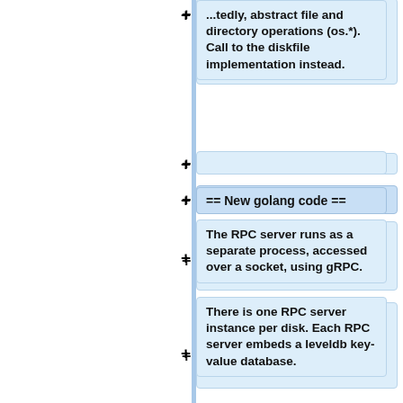...tedly, abstract file and directory operations (os.*). Call to the diskfile implementation instead.
== New golang code ==
The RPC server runs as a separate process, accessed over a socket, using gRPC.
There is one RPC server instance per disk. Each RPC server embeds a leveldb key-value database.
The basic operations are storing and retrieving information about volumes and files, and recreating the swift directory structure on the fly (directories are not stored)